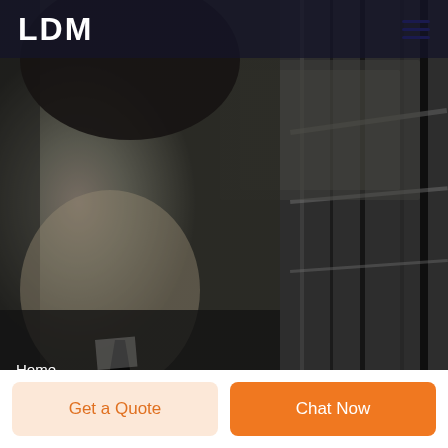LDM
[Figure (photo): Grayscale photo of a smiling man in a suit, with blurred industrial or architectural background featuring dark vertical rods and beams.]
Home
body armor brand
Get a Quote
Chat Now